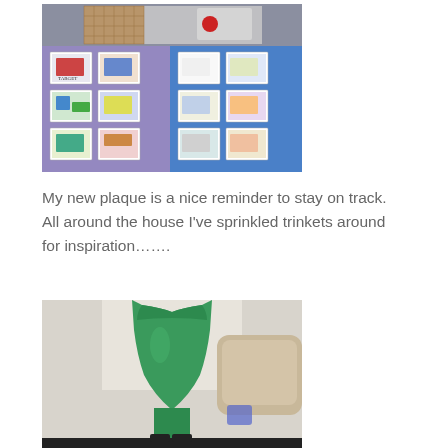[Figure (photo): Photo of an open binder or folder with educational picture cards laid out, showing images of community places, vehicles, and activities. A plastic storage box is visible in the background. The binder has purple and blue sections filled with small illustrated cards.]
My new plaque is a nice reminder to stay on track.  All around the house I've sprinkled trinkets around for inspiration…….
[Figure (photo): Photo of a green decorative torso/mannequin figurine on a windowsill, with a tan cushioned chair and a small blue object visible in the background.]